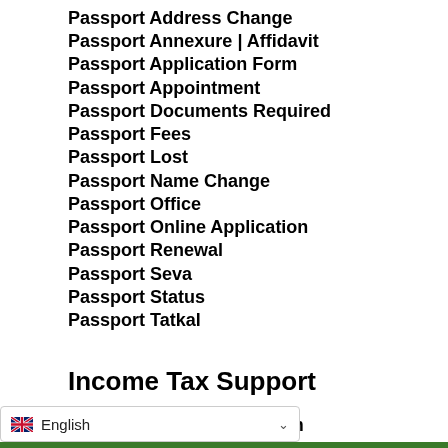Passport Address Change
Passport Annexure | Affidavit
Passport Application Form
Passport Appointment
Passport Documents Required
Passport Fees
Passport Lost
Passport Name Change
Passport Office
Passport Online Application
Passport Renewal
Passport Seva
Passport Status
Passport Tatkal
Income Tax Support
Filing of Income Tax Return
I...